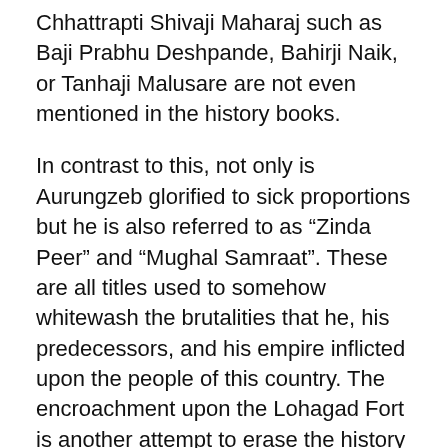Chhattrapti Shivaji Maharaj such as Baji Prabhu Deshpande, Bahirji Naik, or Tanhaji Malusare are not even mentioned in the history books.
In contrast to this, not only is Aurungzeb glorified to sick proportions but he is also referred to as “Zinda Peer” and “Mughal Samraat”. These are all titles used to somehow whitewash the brutalities that he, his predecessors, and his empire inflicted upon the people of this country. The encroachment upon the Lohagad Fort is another attempt to erase the history and legacy of Chhatrapati Shivaji Maharaj...